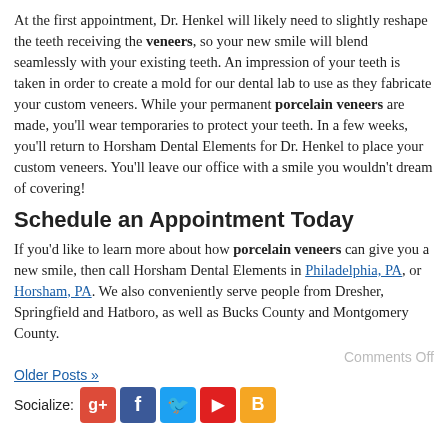At the first appointment, Dr. Henkel will likely need to slightly reshape the teeth receiving the veneers, so your new smile will blend seamlessly with your existing teeth. An impression of your teeth is taken in order to create a mold for our dental lab to use as they fabricate your custom veneers. While your permanent porcelain veneers are made, you’ll wear temporaries to protect your teeth. In a few weeks, you’ll return to Horsham Dental Elements for Dr. Henkel to place your custom veneers. You’ll leave our office with a smile you wouldn’t dream of covering!
Schedule an Appointment Today
If you’d like to learn more about how porcelain veneers can give you a new smile, then call Horsham Dental Elements in Philadelphia, PA, or Horsham, PA. We also conveniently serve people from Dresher, Springfield and Hatboro, as well as Bucks County and Montgomery County.
Comments Off
Older Posts »
Socialize: